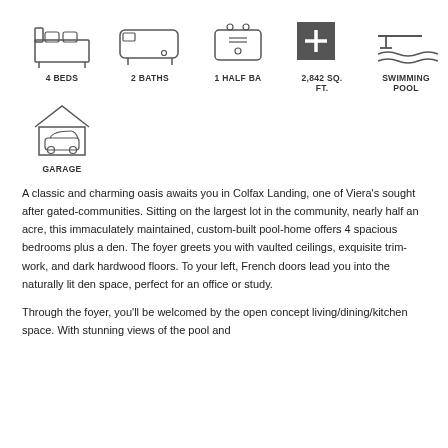[Figure (infographic): Row of property feature icons: bed, bath, half bath, square footage, swimming pool, garage with labels]
A classic and charming oasis awaits you in Colfax Landing, one of Viera's sought after gated-communities. Sitting on the largest lot in the community, nearly half an acre, this immaculately maintained, custom-built pool-home offers 4 spacious bedrooms plus a den. The foyer greets you with vaulted ceilings, exquisite trim-work, and dark hardwood floors. To your left, French doors lead you into the naturally lit den space, perfect for an office or study.
Through the foyer, you'll be welcomed by the open concept living/dining/kitchen space. With stunning views of the pool and